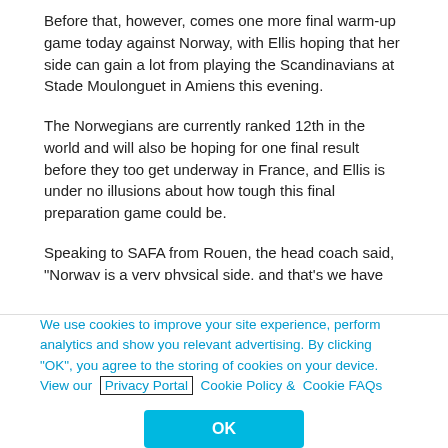Before that, however, comes one more final warm-up game today against Norway, with Ellis hoping that her side can gain a lot from playing the Scandinavians at Stade Moulonguet in Amiens this evening.
The Norwegians are currently ranked 12th in the world and will also be hoping for one final result before they too get underway in France, and Ellis is under no illusions about how tough this final preparation game could be.
Speaking to SAFA from Rouen, the head coach said, "Norway is a very physical side, and that's we have not played one of those in a long time… We want to work on rotating the ball quicker, that's key for us, not giving the ball away and minimising our mistakes. I think we saw already in the USA game.
We use cookies to improve your site experience, perform analytics and show you relevant advertising. By clicking "OK", you agree to the storing of cookies on your device. View our Privacy Portal  Cookie Policy &  Cookie FAQs